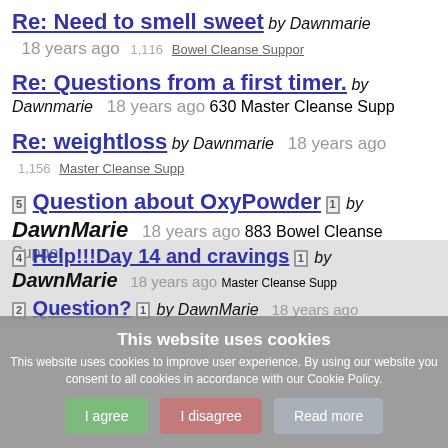Re: Need to smell sweet by Dawnmarie 18 years ago 1,116 Bowel Cleanse Support
Re: Questions from a first timer. by Dawnmarie 18 years ago 630 Master Cleanse Support
Re: weightloss by Dawnmarie 18 years ago 1,156 Master Cleanse Support
Question about OxyPowder by DawnMarie 18 years ago 883 Bowel Cleanse Support
Help!!!Day 14 and cravings by DawnMarie 18 years ago Master Cleanse Support
Question? by DawnMarie 18 years ago
This website uses cookies. This website uses cookies to improve user experience. By using our website you consent to all cookies in accordance with our Cookie Policy.